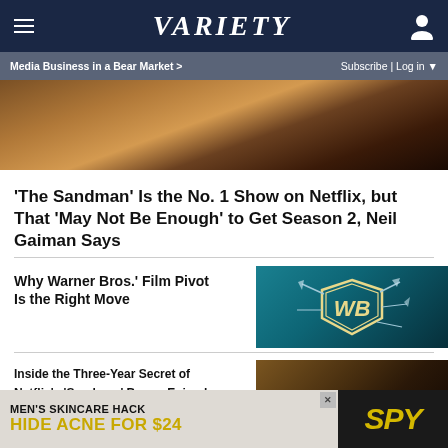VARIETY
Media Business in a Bear Market > | Subscribe | Log in
[Figure (photo): Close-up photo of hands holding a worn red book, with blurred background]
'The Sandman' Is the No. 1 Show on Netflix, but That 'May Not Be Enough' to Get Season 2, Neil Gaiman Says
Why Warner Bros.' Film Pivot Is the Right Move
[Figure (photo): Warner Bros. shield logo with shattering glass effect on teal background]
Inside the Three-Year Secret of Netflix's 'Sandman' Bonus Episode — and How Neil Gaiman Almost Spoiled the Surprise of Its A-List
[Figure (photo): Dark dramatic photo of actor in the Sandman series]
[Figure (other): Advertisement banner: MEN'S SKINCARE HACK – HIDE ACNE FOR $24, SPY brand]